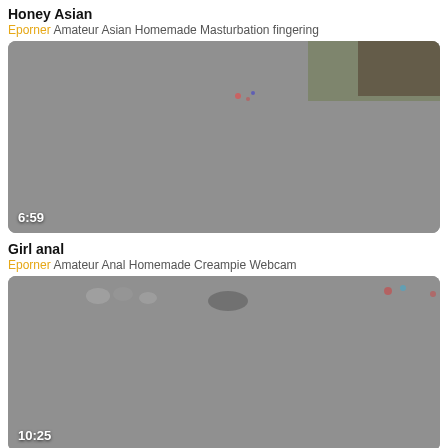Honey Asian
Eporner Amateur Asian Homemade Masturbation fingering
[Figure (screenshot): Video thumbnail showing blurred/dark scene, duration 6:59]
Girl anal
Eporner Amateur Anal Homemade Creampie Webcam
[Figure (screenshot): Video thumbnail showing blurred/dark scene with some small figures, duration 10:25]